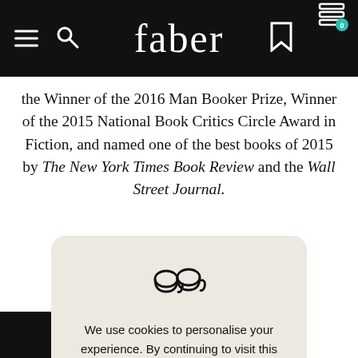faber
the Winner of the 2016 Man Booker Prize, Winner of the 2015 National Book Critics Circle Award in Fiction, and named one of the best books of 2015 by The New York Times Book Review and the Wall Street Journal.
[Figure (illustration): Cookie consent modal on the Faber website. Contains a tea/coffee cup icon, text 'We use cookies to personalise your experience. By continuing to visit this website you agree to our use of cookies.', a teal 'Got It' button, and a 'Read Our Cookie Policy' link. Background is beige/cream colored card with rounded corners.]